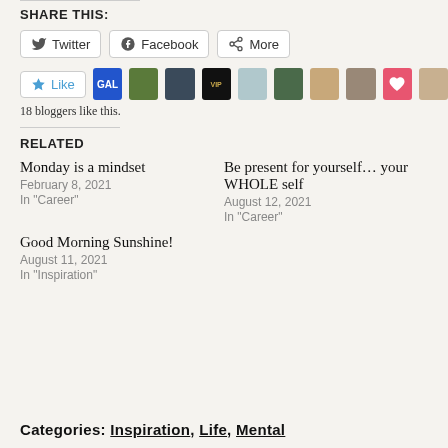SHARE THIS:
[Figure (other): Share buttons: Twitter, Facebook, More]
[Figure (other): Like button with 10 blogger avatars/icons including a heart icon]
18 bloggers like this.
RELATED
Monday is a mindset
February 8, 2021
In "Career"
Be present for yourself… your WHOLE self
August 12, 2021
In "Career"
Good Morning Sunshine!
August 11, 2021
In "Inspiration"
CATEGORIES: INSPIRATION, LIFE, MENTAL